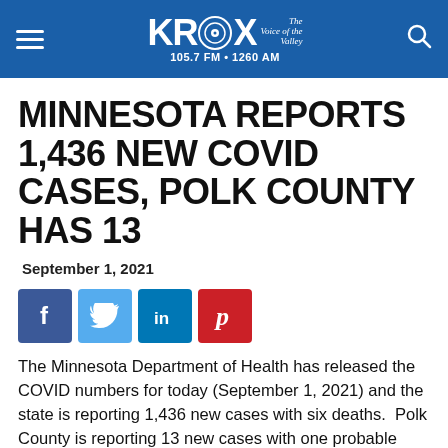KROX 105.7 FM • 1260 AM The Voice of the Valley
MINNESOTA REPORTS 1,436 NEW COVID CASES, POLK COUNTY HAS 13
September 1, 2021
[Figure (other): Social media share buttons: Facebook, Twitter, LinkedIn, Pinterest]
The Minnesota Department of Health has released the COVID numbers for today (September 1, 2021) and the state is reporting 1,436 new cases with six deaths.  Polk County is reporting 13 new cases with one probable case.  Roseau County had 15, Pennington County – 8, Red Lake County – 7, Marshall County – 4, Mahnomen